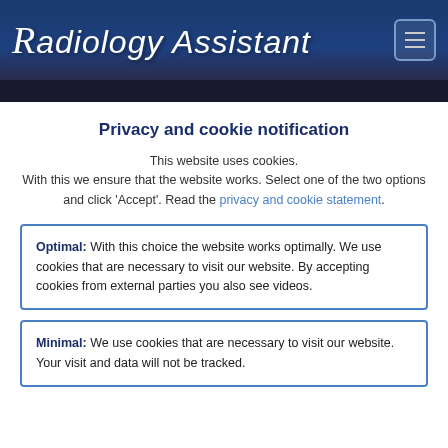Radiology Assistant
Privacy and cookie notification
This website uses cookies. With this we ensure that the website works. Select one of the two options and click 'Accept'. Read the privacy and cookie statement.
Optimal: With this choice the website works optimally. We use cookies that are necessary to visit our website. By accepting cookies from external parties you also see videos.
Minimal: We use cookies that are necessary to visit our website. Your visit and data will not be tracked.